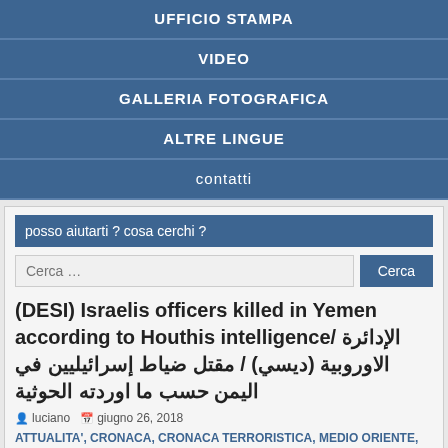UFFICIO STAMPA
VIDEO
GALLERIA FOTOGRAFICA
ALTRE LINGUE
contatti
posso aiutarti ? cosa cerchi ?
Cerca …
(DESI) Israelis officers killed in Yemen according to Houthis intelligence/ الإدائرة الاوروبية (ديسي) / مقتل ضياط إسرائيليين في اليمن حسب ما اوردته الحوثية
luciano  giugno 26, 2018
ATTUALITA', CRONACA, CRONACA TERRORISTICA, MEDIO ORIENTE, POLITICA ESTERA, POLITICA EUROPEA